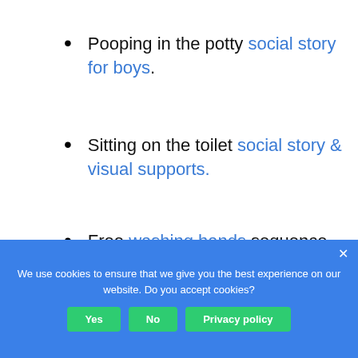Pooping in the potty social story for boys.
Sitting on the toilet social story & visual supports.
Free washing hands sequence visual support.
We use cookies to ensure that we give you the best experience on our website. Do you accept cookies?